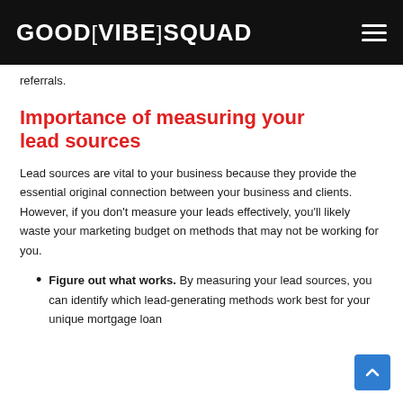GOOD VIBE SQUAD
referrals.
Importance of measuring your lead sources
Lead sources are vital to your business because they provide the essential original connection between your business and clients. However, if you don't measure your leads effectively, you'll likely waste your marketing budget on methods that may not be working for you.
Figure out what works. By measuring your lead sources, you can identify which lead-generating methods work best for your unique mortgage loan